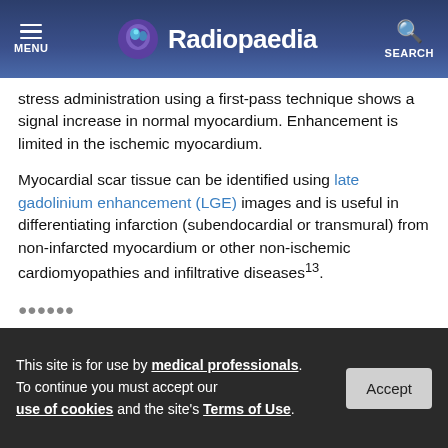Radiopaedia
stress administration using a first-pass technique shows a signal increase in normal myocardium. Enhancement is limited in the ischemic myocardium.
Myocardial scar tissue can be identified using late gadolinium enhancement (LGE) images and is useful in differentiating infarction (subendocardial or transmural) from non-infarcted myocardium or other non-ischemic cardiomyopathies and infiltrative diseases¹³.
This site is for use by medical professionals. To continue you must accept our use of cookies and the site's Terms of Use.